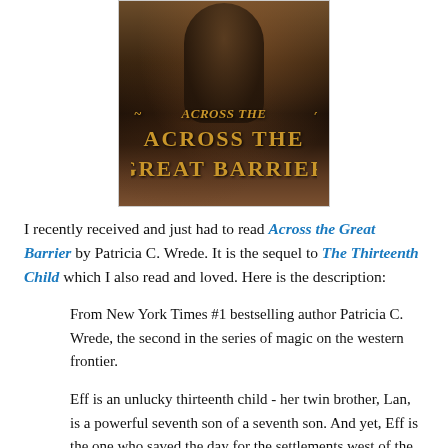[Figure (illustration): Book cover of 'Across the Great Barrier' by Patricia C. Wrede, showing a dark-cloaked figure against a moody background, with ornate golden title text.]
I recently received and just had to read Across the Great Barrier by Patricia C. Wrede. It is the sequel to The Thirteenth Child which I also read and loved. Here is the description:
From New York Times #1 bestselling author Patricia C. Wrede, the second in the series of magic on the western frontier.
Eff is an unlucky thirteenth child - her twin brother, Lan, is a powerful seventh son of a seventh son. And yet, Eff is the one who saved the day for the settlements west of the Great Barrier. Now she goes west of the Great